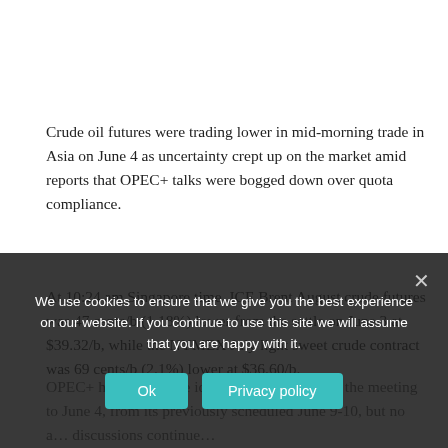Crude oil futures were trading lower in mid-morning trade in Asia on June 4 as uncertainty crept up on the market amid reports that OPEC+ talks were bogged down over quota compliance.
At 10:24 am Singapore time, ICE Brent August crude futures was 47 cents/b (1.18%) lower from the settle on June 3 at $39.32/b, while the NYMEX July light sweet crude contract was 69 cents/b (2.1%) lower at $36.60/b.
OPEC+ had floated the idea of moving forward the meeting to June 4, from its previously scheduled June 9-10, but no a... discussions continue...
We use cookies to ensure that we give you the best experience on our website. If you continue to use this site we will assume that you are happy with it.